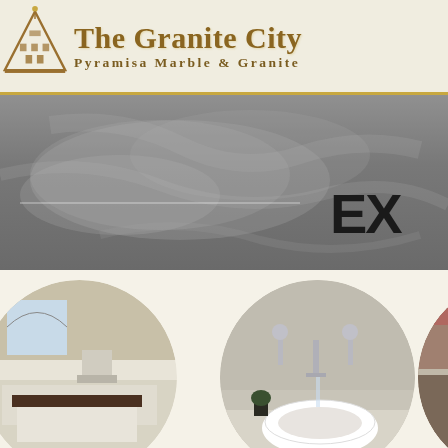[Figure (logo): The Granite City - Pyramisa Marble & Granite logo with pyramid/building icon and gold gradient text]
[Figure (photo): Dark grey marble texture banner background with a horizontal white dividing line on the left side and bold black text 'EX' (partially visible) on the right]
[Figure (photo): Three circular cropped photos: left circle shows a luxury white kitchen with granite island and arched window; center circle shows a white vessel sink with wall-mounted chrome faucets; right circle (partially cropped) shows granite tile flooring samples]